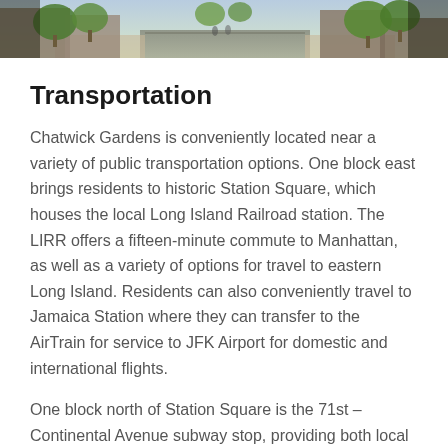[Figure (photo): Street scene photo showing a tree-lined road with buildings, brick pavement, and greenery — appears to be a residential or mixed-use neighborhood street.]
Transportation
Chatwick Gardens is conveniently located near a variety of public transportation options. One block east brings residents to historic Station Square, which houses the local Long Island Railroad station. The LIRR offers a fifteen-minute commute to Manhattan, as well as a variety of options for travel to eastern Long Island. Residents can also conveniently travel to Jamaica Station where they can transfer to the AirTrain for service to JFK Airport for domestic and international flights.
One block north of Station Square is the 71st – Continental Avenue subway stop, providing both local (M, R) and express (E, F) service to midtown Manhattan in a little over twenty-five minutes. Select